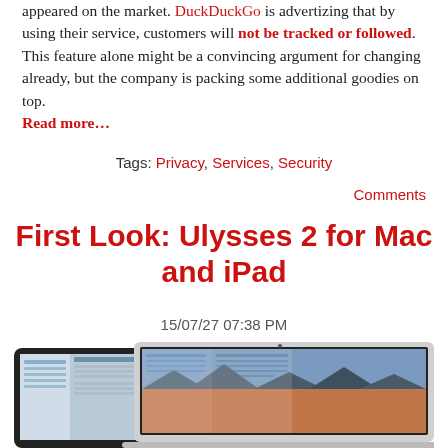appeared on the market. DuckDuckGo is advertizing that by using their service, customers will not be tracked or followed. This feature alone might be a convincing argument for changing already, but the company is packing some additional goodies on top. Read more…
Tags: Privacy, Services, Security
Comments
First Look: Ulysses 2 for Mac and iPad
15/07/27 07:38 PM
[Figure (screenshot): Screenshot of Ulysses 2 application shown on a MacBook and iPad, displaying a writing application interface with document panels.]